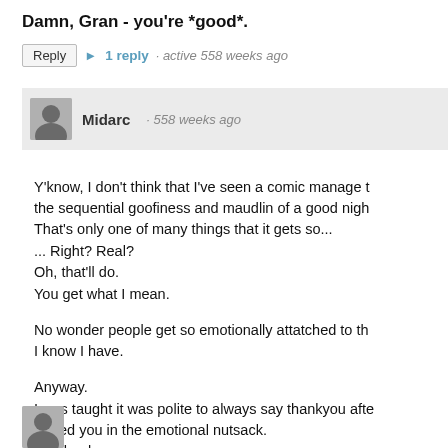Damn, Gran - you're *good*.
Reply  ▶ 1 reply · active 558 weeks ago
Midarc · 558 weeks ago
Y'know, I don't think that I've seen a comic manage the sequential goofiness and maudlin of a good nigh... That's only one of many things that it gets so... ... Right? Real? Oh, that'll do. You get what I mean.

No wonder people get so emotionally attatched to th... I know I have.

Anyway. I was taught it was polite to always say thankyou afte... kicked you in the emotional nutsack. So, thankyou.
Reply